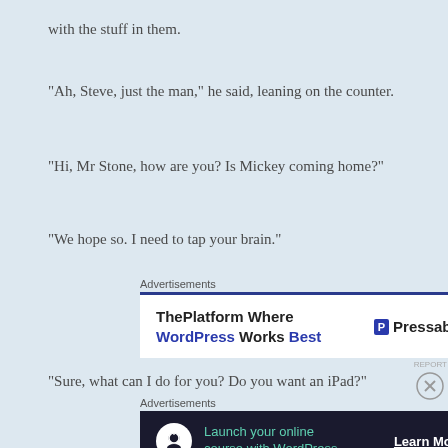with the stuff in them.
“Ah, Steve, just the man,” he said, leaning on the counter.
“Hi, Mr Stone, how are you? Is Mickey coming home?”
“We hope so. I need to tap your brain.”
[Figure (screenshot): Advertisement banner: ThePlatform Where WordPress Works Best - Pressable]
“Sure, what can I do for you? Do you want an iPad?”
[Figure (screenshot): Advertisement banner: Launch your online course with WordPress - Learn More]